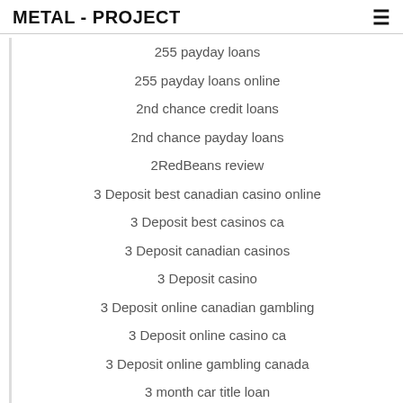METAL - PROJECT
255 payday loans
255 payday loans online
2nd chance credit loans
2nd chance payday loans
2RedBeans review
3 Deposit best canadian casino online
3 Deposit best casinos ca
3 Deposit canadian casinos
3 Deposit casino
3 Deposit online canadian gambling
3 Deposit online casino ca
3 Deposit online gambling canada
3 month car title loan